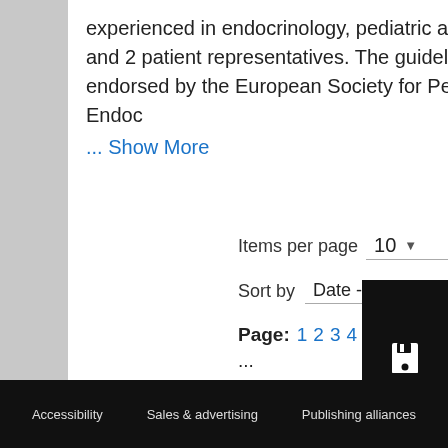experienced in endocrinology, pediatric and adult and 2 patient representatives. The guideline was endorsed by the European Society for Pediatric Endoc
... Show More
Items per page  10
Sort by  Date - Recent to Old
Page: 1 2 3 4 5 6 7 8 9 10 11 12 ...
Accessibility   Sales & advertising   Publishing alliances